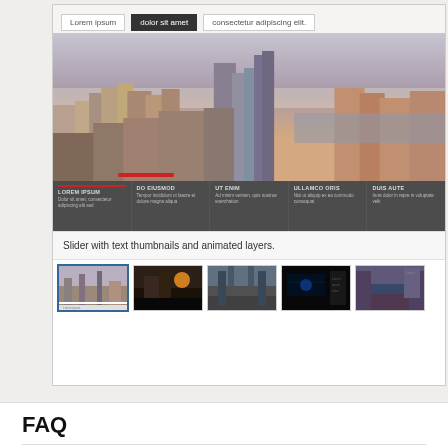[Figure (screenshot): Web page screenshot showing a slider with a city skyline image, navigation tabs (Lorem ipsum, dolor sit amet, consectetur adipiscing elit), bottom text columns (LOREM IPSUM, DO EIUSMOD, UT ENIM, ULLAMCO ORIS, DUIS AUTE), and thumbnail images below.]
Slider with text thumbnails and animated layers.
FAQ
How can I set the size of the images?